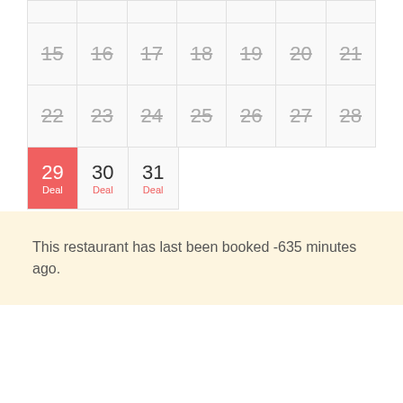[Figure (other): Calendar grid showing dates 15-31 with strikethrough on past dates and 'Deal' label on 29, 30, 31. Date 29 is highlighted in red.]
This restaurant has last been booked -635 minutes ago.